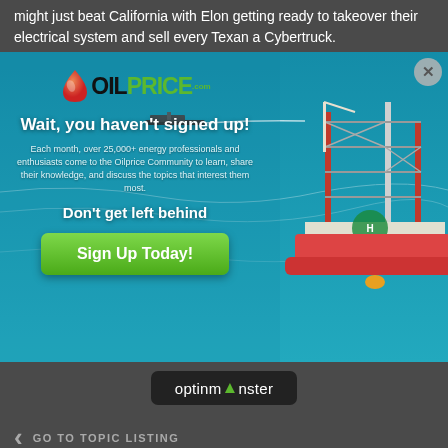might just beat California with Elon getting ready to takeover their electrical system and sell every Texan a Cybertruck.
[Figure (screenshot): OilPrice.com modal popup advertisement over an ocean oil rig background. Contains OilPrice logo, headline 'Wait, you haven't signed up!', subtext about 25,000+ energy professionals, 'Don't get left behind' text, and a green 'Sign Up Today!' button. A close (X) button is in the top right corner.]
[Figure (logo): OptinMonster logo badge in dark rounded rectangle]
GO TO TOPIC LISTING